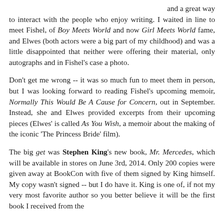and a great way to interact with the people who enjoy writing. I waited in line to meet Fishel, of Boy Meets World and now Girl Meets World fame, and Elwes (both actors were a big part of my childhood) and was a little disappointed that neither were offering their material, only autographs and in Fishel's case a photo.
Don't get me wrong -- it was so much fun to meet them in person, but I was looking forward to reading Fishel's upcoming memoir, Normally This Would Be A Cause for Concern, out in September. Instead, she and Elwes provided excerpts from their upcoming pieces (Elwes' is called As You Wish, a memoir about the making of the iconic 'The Princess Bride' film).
The big get was Stephen King's new book, Mr. Mercedes, which will be available in stores on June 3rd, 2014. Only 200 copies were given away at BookCon with five of them signed by King himself. My copy wasn't signed -- but I do have it. King is one of, if not my very most favorite author so you better believe it will be the first book I received from the